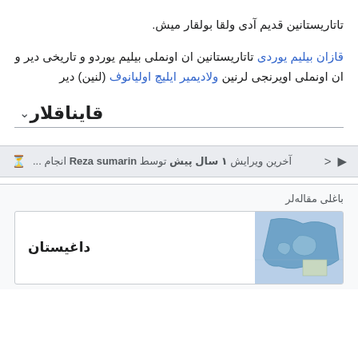تاتاریستانین قدیم آدی ولقا بولقار میش.
قازان بیلیم یوردی تاتاریستانین ان اونملی بیلیم یوردو و تاریخی دیر و ان اونملی اویرنجی لرنین ولادیمیر ایلیچ اولیانوف (لنین) دیر
قایناقلار
آخرین ویرایش ۱ سال پیش توسط Reza sumarin انجام ...
باغلی مقاله‌لر
داغیستان